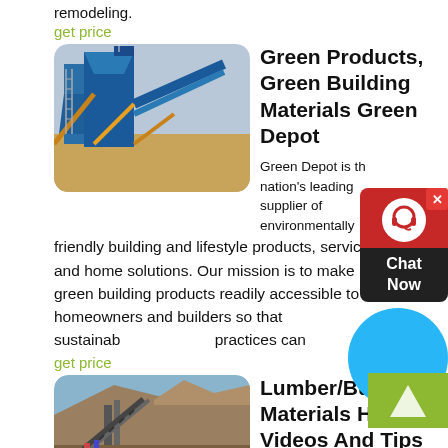remodeling.
get price
[Figure (photo): Industrial mining or aggregate processing equipment — large blue and yellow conveyor/screening structure against pale sky]
Green Products, Green Building Materials Green Depot
Green Depot is the nation's leading supplier of environmentally friendly building and lifestyle products, services and home solutions. Our mission is to make green building products readily accessible to homeowners and builders so that sustainable practices can
get price
[Figure (photo): Mining or quarry site with heavy equipment and conveyor belt against rocky hillside and blue sky]
Lumber/Building Materials How To Videos And Tips At The